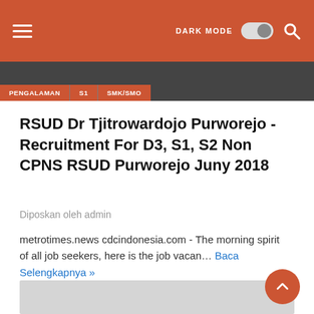DARK MODE [toggle] [search]
[Figure (screenshot): Image strip with tags: PENGALAMAN, S1, SMK/SMO and dark background image]
RSUD Dr Tjitrowardojo Purworejo - Recruitment For D3, S1, S2 Non CPNS RSUD Purworejo Juny 2018
Diposkan oleh admin
metrotimes.news cdcindonesia.com - The morning spirit of all job seekers, here is the job vacan… Baca Selengkapnya »
[Figure (photo): Gray placeholder image at bottom of page]